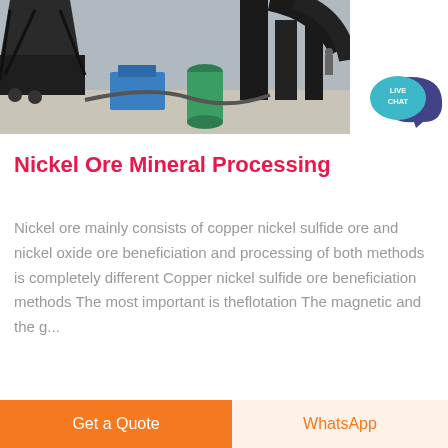[Figure (photo): Industrial mineral processing facility with large black metal silos/hoppers, a blue machine, a green cylindrical tank, and large black pipes/ducts on a concrete floor outdoors.]
[Figure (illustration): Live Chat button with a teal speech bubble containing 'LIVE CHAT' text and a dark purple/navy chat bubble icon behind it.]
Nickel Ore Mineral Processing
Nickel ore mainly consists of copper nickel sulfide ore and nickel oxide ore beneficiation and processing of both methods is completely different Copper nickel sulfide ore beneficiation methods The most important is theflotation The magnetic and the g...
[Figure (other): A partial gray horizontal bar at the bottom of the content area, partially cut off.]
Get a Quote
WhatsApp